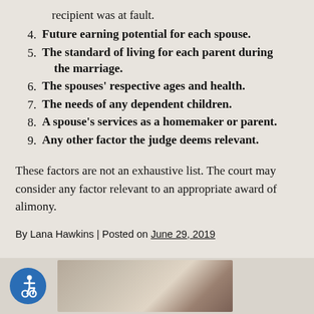recipient was at fault.
4. Future earning potential for each spouse.
5. The standard of living for each parent during the marriage.
6. The spouses' respective ages and health.
7. The needs of any dependent children.
8. A spouse's services as a homemaker or parent.
9. Any other factor the judge deems relevant.
These factors are not an exhaustive list. The court may consider any factor relevant to an appropriate award of alimony.
By Lana Hawkins | Posted on June 29, 2019
[Figure (photo): Accessibility icon (wheelchair symbol in blue circle) and a photo showing a person, partially visible at the bottom of the page]